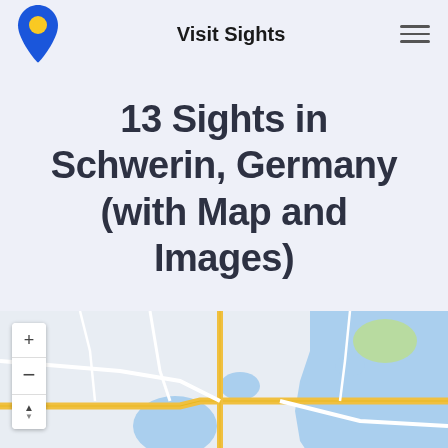Visit Sights
13 Sights in Schwerin, Germany (with Map and Images)
[Figure (map): Interactive map of Schwerin, Germany showing roads, water bodies, and green areas. Map controls visible on the left side with zoom in (+), zoom out (-), and compass/orientation buttons.]